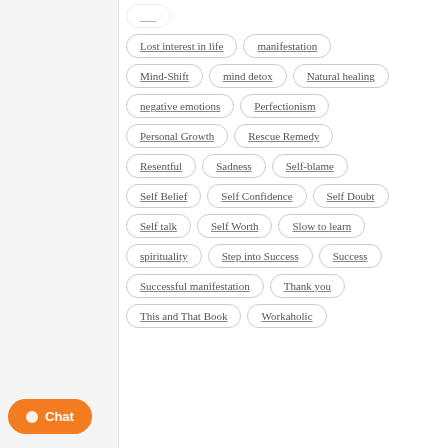Lost interest in life
manifestation
Mind-Shift
mind detox
Natural healing
negative emotions
Perfectionism
Personal Growth
Rescue Remedy
Resentful
Sadness
Self-blame
Self Belief
Self Confidence
Self Doubt
Self talk
Self Worth
Slow to learn
spirituality
Step into Success
Success
Successful manifestation
Thank you
This and That Book
Workaholic